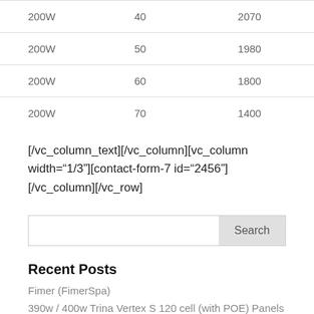| 200W | 40 | 2070 |
| 200W | 50 | 1980 |
| 200W | 60 | 1800 |
| 200W | 70 | 1400 |
[/vc_column_text][/vc_column][vc_column width="1/3"][contact-form-7 id="2456"][/vc_column][/vc_row]
Search
Recent Posts
Fimer (FimerSpa)
390w / 400w Trina Vertex S 120 cell (with POE) Panels